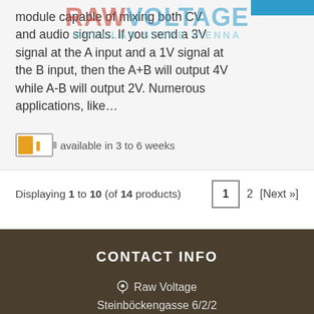module capable of mixing both CV and audio signals. If you send a 3V signal at the A input and a 1V signal at the B input, then the A+B will output 4V while A-B will output 2V. Numerous applications, like…
available in 3 to 6 weeks
Displaying 1 to 10 (of 14 products)
1  2  [Next »]
CONTACT INFO
Raw Voltage
Steinböckengasse 6/2/2